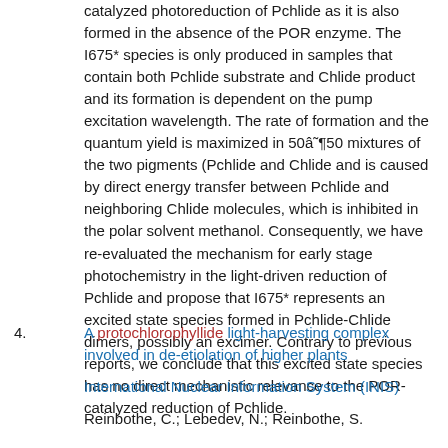catalyzed photoreduction of Pchlide as it is also formed in the absence of the POR enzyme. The I675* species is only produced in samples that contain both Pchlide substrate and Chlide product and its formation is dependent on the pump excitation wavelength. The rate of formation and the quantum yield is maximized in 50â˜¶50 mixtures of the two pigments (Pchlide and Chlide and is caused by direct energy transfer between Pchlide and neighboring Chlide molecules, which is inhibited in the polar solvent methanol. Consequently, we have re-evaluated the mechanism for early stage photochemistry in the light-driven reduction of Pchlide and propose that I675* represents an excited state species formed in Pchlide-Chlide dimers, possibly an excimer. Contrary to previous reports, we conclude that this excited state species has no direct mechanistic relevance to the POR-catalyzed reduction of Pchlide.
4. A protochlorophyllide light-harvesting complex involved in de-etiolation of higher plants

International Nuclear Information System (INIS)

Reinbothe, C.; Lebedev, N.; Reinbothe, S.